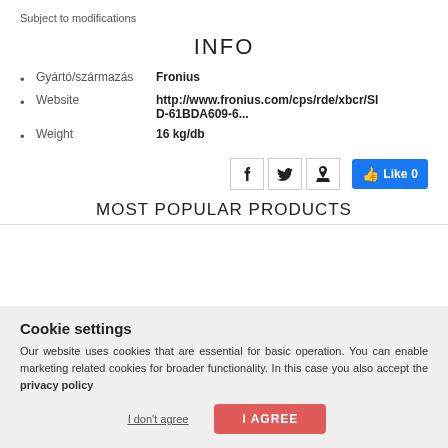Subject to modifications
INFO
Gyártó/származás  Fronius
Website  http://www.fronius.com/cps/rde/xbcr/SID-61BDA609-6...
Weight  16 kg/db
[Figure (screenshot): Social share buttons: Facebook, Twitter, Pinterest, and Facebook Like button showing 0 likes]
MOST POPULAR PRODUCTS
Cookie settings
Our website uses cookies that are essential for basic operation. You can enable marketing related cookies for broader functionality. In this case you also accept the privacy policy
I don't agree  I AGREE